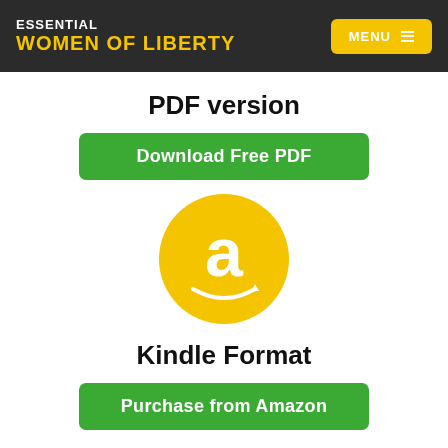ESSENTIAL WOMEN OF LIBERTY | MENU
PDF version
Download Free PDF
[Figure (logo): Amazon logo: yellow circle with white 'a' letterform and smile arrow]
Kindle Format
Purchase from Amazon